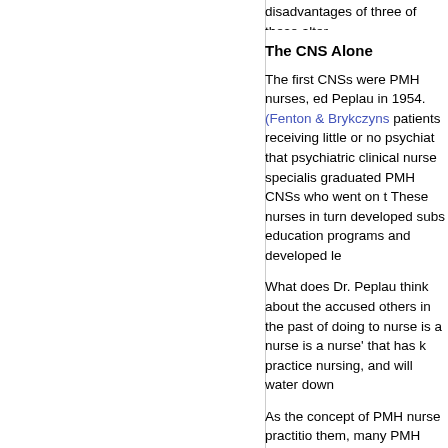disadvantages of three of these alter
The CNS Alone
The first CNSs were PMH nurses, ed Peplau in 1954. (Fenton & Brykczyns patients receiving little or no psychiat that psychiatric clinical nurse specialis graduated PMH CNSs who went on t These nurses in turn developed subs education programs and developed le
What does Dr. Peplau think about the accused others in the past of doing to nurse is a nurse is a nurse' that has k practice nursing, and will water down
As the concept of PMH nurse practitio them, many PMH clinical nurse speci that primary care could be provided b Using the analogy of medicine, psych perform the many duties involved in p see the new PMH-NP as a kind of "ge about primary care and all there is ab
Some CNSs see the new PMH required to know all there is ab